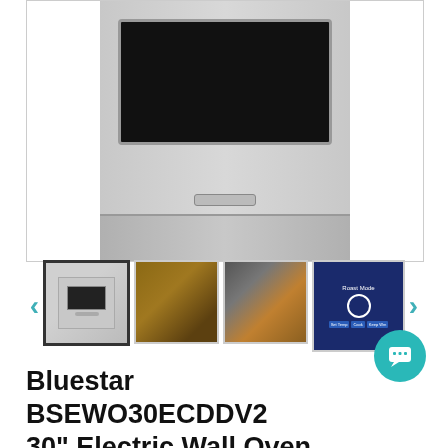[Figure (photo): Main product image of a Bluestar electric wall oven with stainless steel front panel, black oven window, and handle, shown from front]
[Figure (photo): Thumbnail 1: Front view of stainless steel wall oven (selected/active)]
[Figure (photo): Thumbnail 2: Interior view of oven with food items on racks]
[Figure (photo): Thumbnail 3: Interior view of oven with pizza on rack]
[Figure (screenshot): Thumbnail 4: Digital control screen showing Roast Mode with clock display and control buttons]
Bluestar BSEWO30ECDDV2 30" Electric Wall Oven With Drop Down Door